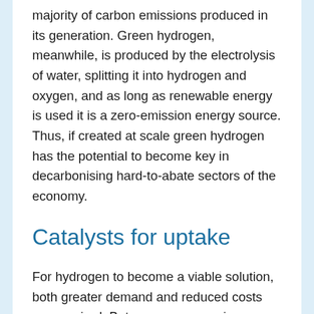majority of carbon emissions produced in its generation. Green hydrogen, meanwhile, is produced by the electrolysis of water, splitting it into hydrogen and oxygen, and as long as renewable energy is used it is a zero-emission energy source. Thus, if created at scale green hydrogen has the potential to become key in decarbonising hard-to-abate sectors of the economy.
Catalysts for uptake
For hydrogen to become a viable solution, both greater demand and reduced costs are required. But we are now seeing movement on three key drivers. Firstly, climate change is accelerating. This feeds directly into a second key driver – policy support for the need to do something about it (Figure 1). Since the Paris Agreement in 2015 governments have turned their attentions to climate change and committed themselves to achieving emissions reduction targets that could lead to carbon